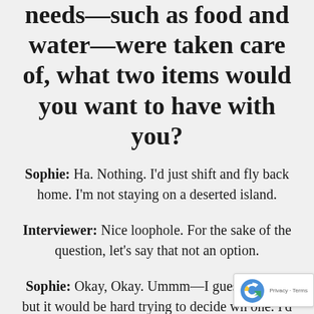needs—such as food and water—were taken care of, what two items would you want to have with you?
Sophie: Ha. Nothing. I'd just shift and fly back home. I'm not staying on a deserted island.
Interviewer: Nice loophole. For the sake of the question, let's say that not an option.
Sophie: Okay, Okay. Ummm—I guess a book, but it would be hard trying to decide wh one. I'd also need something to do with